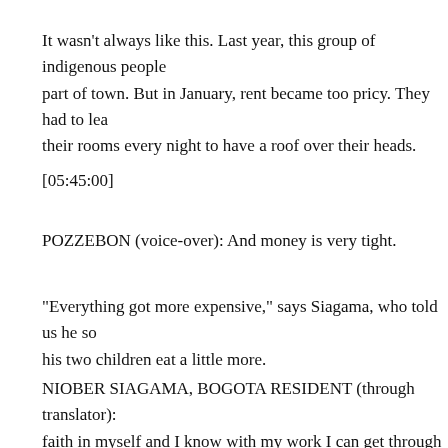It wasn't always like this. Last year, this group of indigenous people part of town. But in January, rent became too pricy. They had to lea their rooms every night to have a roof over their heads.
[05:45:00]
POZZEBON (voice-over): And money is very tight.
"Everything got more expensive," says Siagama, who told us he so his two children eat a little more.
NIOBER SIAGAMA, BOGOTA RESIDENT (through translator): faith in myself and I know with my work I can get through this. Bu against you.
POZZEBON (voice-over): The is...